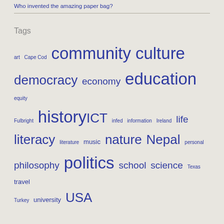Who invented the amazing paper bag?
Tags
art Cape Cod community culture democracy economy education equity Fulbright history ICT infed information Ireland life literacy literature music nature Nepal personal philosophy politics school science Texas travel Turkey university USA
RSS feed
Beyond the classroom walls: Imagining the future of education